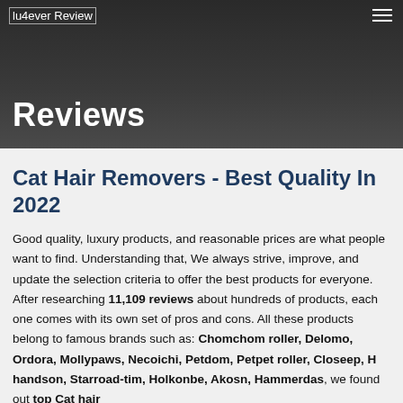lu4ever Review
Reviews
Cat Hair Removers - Best Quality In 2022
Good quality, luxury products, and reasonable prices are what people want to find. Understanding that, We always strive, improve, and update the selection criteria to offer the best products for everyone. After researching 11,109 reviews about hundreds of products, each one comes with its own set of pros and cons. All these products belong to famous brands such as: Chomchom roller, Delomo, Ordora, Mollypaws, Necoichi, Petdom, Petpet roller, Closeep, H handson, Starroad-tim, Holkonbe, Akosn, Hammerdas, we found out top Cat hair